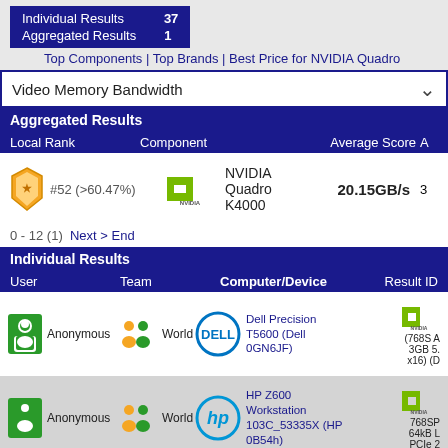|  |  |
| --- | --- |
| Individual Results | 37 |
| Aggregated Results | 1 |
Top Components | Top Brands | Best Price for NVIDIA Quadro
Video Memory Bandwidth
Aggregated Results
| Local Rank | Component | Average Score | A |
| --- | --- | --- | --- |
| #52 (>60.47%) | NVIDIA Quadro K4000 | 20.15GB/s | 3 |
0 - 12 (1)  Next > End
Individual Results
| User | Team | Computer/Device | Result ID |
| --- | --- | --- | --- |
| Anonymous | World | Dell Precision T5600 (Dell 0GN6JF) | NVIDIA (768S A 3GB 5. x16) (D |
| Anonymous | World | HP Z600 Workstation 103C_53335X (HP 0B54h) | NVIDIA 768SP 64kB L PCIe 2 |
| Anonymous | World | HP Z820 Workstation 103C_53335X G-D (HP 158B) | NVIDIA 768SP 64kB L PCIe 2 |